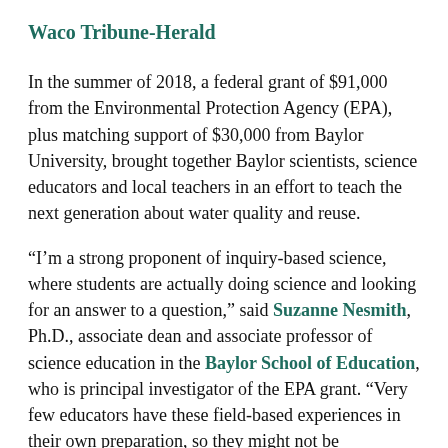Waco Tribune-Herald
In the summer of 2018, a federal grant of $91,000 from the Environmental Protection Agency (EPA), plus matching support of $30,000 from Baylor University, brought together Baylor scientists, science educators and local teachers in an effort to teach the next generation about water quality and reuse.
“I’m a strong proponent of inquiry-based science, where students are actually doing science and looking for an answer to a question,” said Suzanne Nesmith, Ph.D., associate dean and associate professor of science education in the Baylor School of Education, who is principal investigator of the EPA grant. “Very few educators have these field-based experiences in their own preparation, so they might not be comfortable with doing science in the field and are